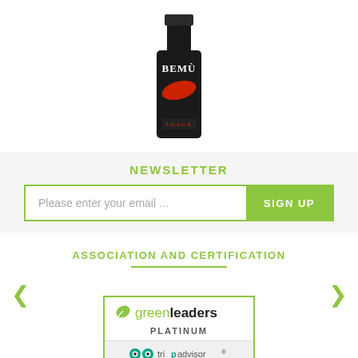[Figure (photo): Wine bottle with dark label reading BEMÙ with red brush stroke graphic, labeled Tosca at the bottom]
NEWSLETTER
Please enter your email ...
SIGN UP
ASSOCIATION AND CERTIFICATION
[Figure (logo): TripAdvisor GreenLeaders Platinum badge — green leaf icon with 'greenleaders' text and 'PLATINUM' below, tripadvisor logo at bottom]